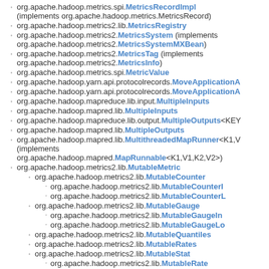org.apache.hadoop.metrics.spi.MetricsRecordImpl (implements org.apache.hadoop.metrics.MetricsRecord)
org.apache.hadoop.metrics2.lib.MetricsRegistry
org.apache.hadoop.metrics2.MetricsSystem (implements org.apache.hadoop.metrics2.MetricsSystemMXBean)
org.apache.hadoop.metrics2.MetricsTag (implements org.apache.hadoop.metrics2.MetricsInfo)
org.apache.hadoop.metrics.spi.MetricValue
org.apache.hadoop.yarn.api.protocolrecords.MoveApplicationA
org.apache.hadoop.yarn.api.protocolrecords.MoveApplicationA
org.apache.hadoop.mapreduce.lib.input.MultipleInputs
org.apache.hadoop.mapred.lib.MultipleInputs
org.apache.hadoop.mapreduce.lib.output.MultipleOutputs<KEY
org.apache.hadoop.mapred.lib.MultipleOutputs
org.apache.hadoop.mapred.lib.MultithreadedMapRunner<K1,V (implements org.apache.hadoop.mapred.MapRunnable<K1,V1,K2,V2>)
org.apache.hadoop.metrics2.lib.MutableMetric
org.apache.hadoop.metrics2.lib.MutableCounter
org.apache.hadoop.metrics2.lib.MutableCounterI
org.apache.hadoop.metrics2.lib.MutableCounterL
org.apache.hadoop.metrics2.lib.MutableGauge
org.apache.hadoop.metrics2.lib.MutableGaugeIn
org.apache.hadoop.metrics2.lib.MutableGaugeLo
org.apache.hadoop.metrics2.lib.MutableQuantiles
org.apache.hadoop.metrics2.lib.MutableRates
org.apache.hadoop.metrics2.lib.MutableStat
org.apache.hadoop.metrics2.lib.MutableRate
org.apache.hadoop.yarn.api.records.NMToken
org.apache.hadoop.yarn.client.api.NMTokenCache
org.apache.hadoop.yarn.api.records.NodeId (implements java.lang.Comparable<T>)